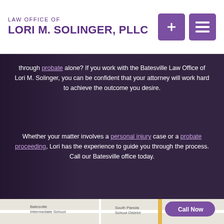LAW OFFICE OF LORI M. SOLINGER, PLLC
through probate alone? If you work with the Batesville Law Office of Lori M. Solinger, you can be confident that your attorney will work hard to achieve the outcome you desire.
Whether your matter involves a personal injury case or a probate proceeding, Lori has the experience to guide you through the process. Call our Batesville office today.
[Figure (map): Google Maps screenshot showing Batesville area with landmarks including Batesville Intermediate School, Batesville Elementary School, South Panola School District, Ava Sue's Flowers, Stubb's Department Store, Panola County Courthouse, and a 'Call Now' button overlay]